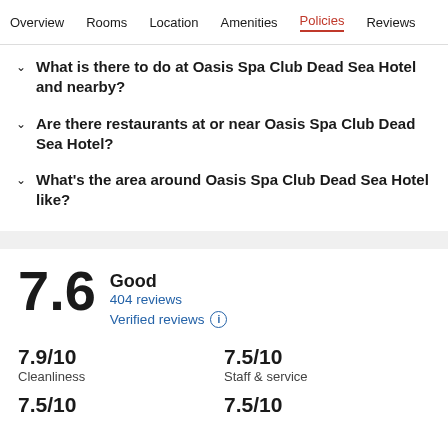Overview  Rooms  Location  Amenities  Policies  Reviews
What is there to do at Oasis Spa Club Dead Sea Hotel and nearby?
Are there restaurants at or near Oasis Spa Club Dead Sea Hotel?
What's the area around Oasis Spa Club Dead Sea Hotel like?
7.6 Good
404 reviews
Verified reviews
7.9/10 Cleanliness   7.5/10 Staff & service
7.5/10   7.5/10